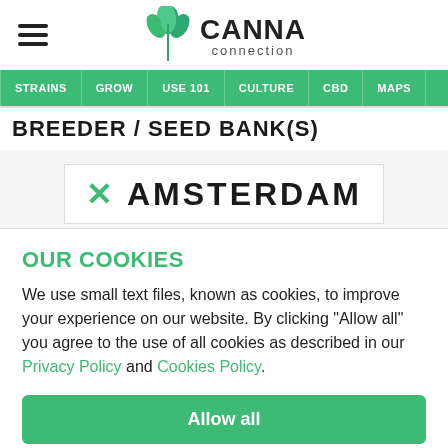[Figure (logo): Canna Connection logo with cannabis leaf icon and text 'CANNA connection']
STRAINS | GROW | USE 101 | CULTURE | CBD | MAPS
BREEDER / SEED BANK(S)
[Figure (logo): Amsterdam Genetics logo with green X and stylized text 'AMSTERDAM' in bold]
OUR COOKIES
We use small text files, known as cookies, to improve your experience on our website. By clicking "Allow all" you agree to the use of all cookies as described in our Privacy Policy and Cookies Policy.
Allow all
Reject all
Manage cookies